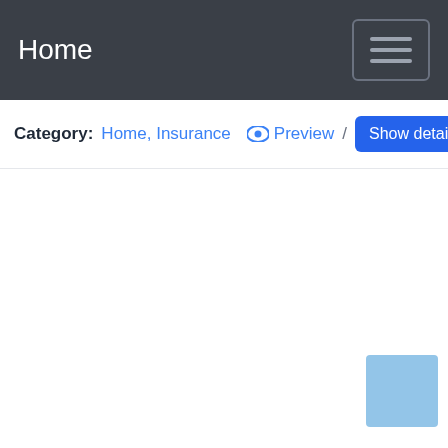Home
Category: Home, Insurance  👁 Preview / Show details
[Figure (other): Light blue square box in the lower right corner of the page]